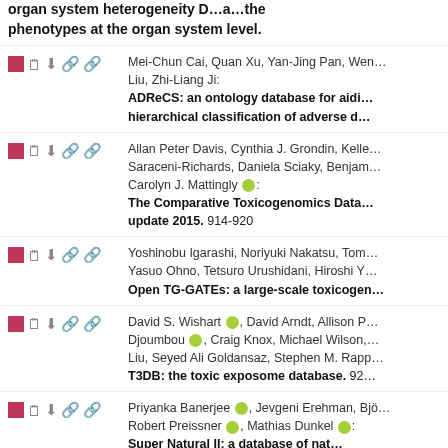…organ system heterogeneity D…a…the phenotypes at the organ system level.
Mei-Chun Cai, Quan Xu, Yan-Jing Pan, Wen… Liu, Zhi-Liang Ji: ADReCS: an ontology database for aidi… hierarchical classification of adverse d…
Allan Peter Davis, Cynthia J. Grondin, Kelle… Saraceni-Richards, Daniela Sciaky, Benjam… Carolyn J. Mattingly: The Comparative Toxicogenomics Data… update 2015. 914-920
Yoshinobu Igarashi, Noriyuki Nakatsu, Tom… Yasuo Ohno, Tetsuro Urushidani, Hiroshi Y… Open TG-GATEs: a large-scale toxicogen…
David S. Wishart, David Arndt, Allison P… Djoumbou, Craig Knox, Michael Wilson,… Liu, Seyed Ali Goldansaz, Stephen M. Rapp… T3DB: the toxic exposome database. 92…
Priyanka Banerjee, Jevgeni Erehman, Bjö… Robert Preissner, Mathias Dunkel: Super Natural II: a database of nat…